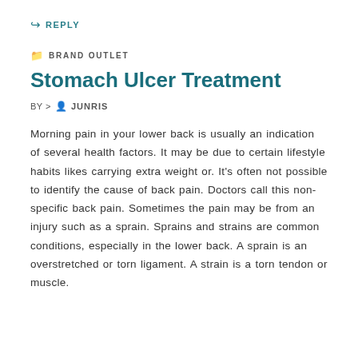↪ REPLY
BRAND OUTLET
Stomach Ulcer Treatment
BY > JUNRIS
Morning pain in your lower back is usually an indication of several health factors. It may be due to certain lifestyle habits likes carrying extra weight or. It's often not possible to identify the cause of back pain. Doctors call this non-specific back pain. Sometimes the pain may be from an injury such as a sprain. Sprains and strains are common conditions, especially in the lower back. A sprain is an overstretched or torn ligament. A strain is a torn tendon or muscle.